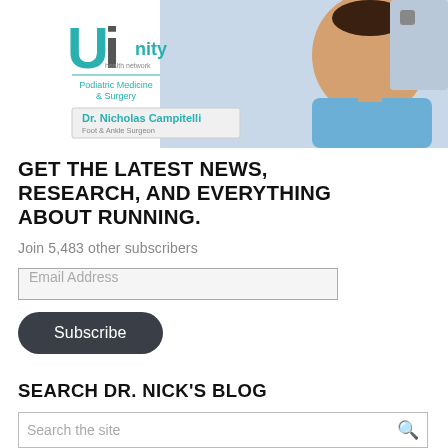[Figure (photo): Banner image showing Unity Health Network Podiatric Medicine & Surgery logo on the left and a smiling male doctor (Dr. Nicholas Campitelli, Foot & Ankle Surgeon) in blue scrubs on the right in a medical setting]
GET THE LATEST NEWS, RESEARCH, AND EVERYTHING ABOUT RUNNING.
Join 5,483 other subscribers
Email Address
Subscribe
SEARCH DR. NICK'S BLOG
Search the site